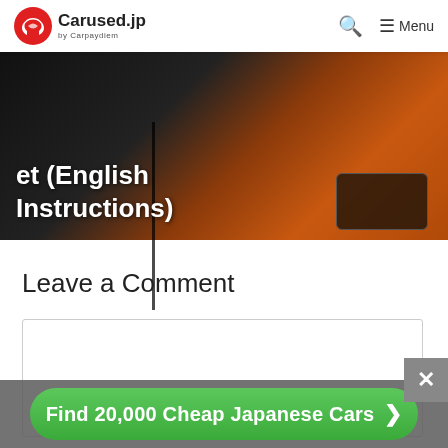Carused.jp by Carpaydiem — Search Menu
[Figure (screenshot): Hero image showing car interior with dark left side and orange right side, with overlaid title text 'How to Read a Japanese Car et (English Instructions)']
Leave a Comment
[Figure (screenshot): Empty comment text area input box]
Find 20,000 Cheap Japanese Cars >